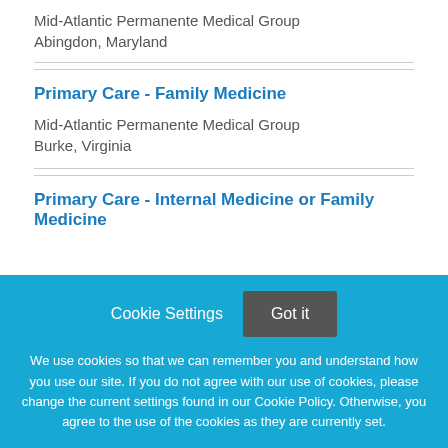Mid-Atlantic Permanente Medical Group
Abingdon, Maryland
Primary Care - Family Medicine
Mid-Atlantic Permanente Medical Group
Burke, Virginia
Primary Care - Internal Medicine or Family Medicine
Cookie Settings
Got it
We use cookies so that we can remember you and understand how you use our site. If you do not agree with our use of cookies, please change the current settings found in our Cookie Policy. Otherwise, you agree to the use of the cookies as they are currently set.